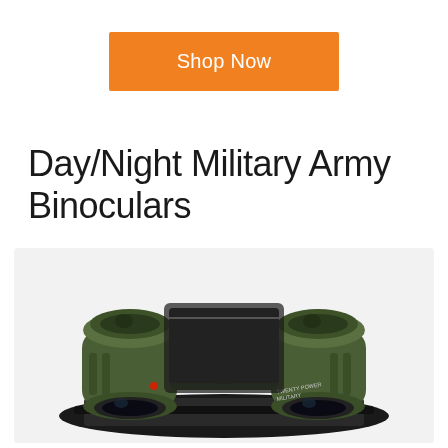Shop Now
Day/Night Military Army Binoculars
[Figure (photo): Military army binoculars in olive green color, placed on a black carrying case/strap, viewed from the front-top angle showing eyepieces and objective lenses.]